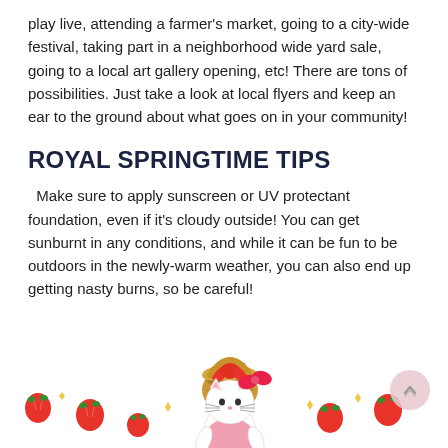play live, attending a farmer's market, going to a city-wide festival, taking part in a neighborhood wide yard sale, going to a local art gallery opening, etc! There are tons of possibilities. Just take a look at local flyers and keep an ear to the ground about what goes on in your community!
ROYAL SPRINGTIME TIPS
Make sure to apply sunscreen or UV protectant foundation, even if it's cloudy outside! You can get sunburnt in any conditions, and while it can be fun to be outdoors in the newly-warm weather, you can also end up getting nasty burns, so be careful!
If you haven't already, invest in like 2-3 plain colored cardigans for your wardrobe. Cardigans are lightweight but still warm and can help in Spring time's ever-changing weather.
[Figure (illustration): Hello Kitty cartoon character holding a wicker basket with strawberries, surrounded by strawberries and small diamond sparkles on a white background.]